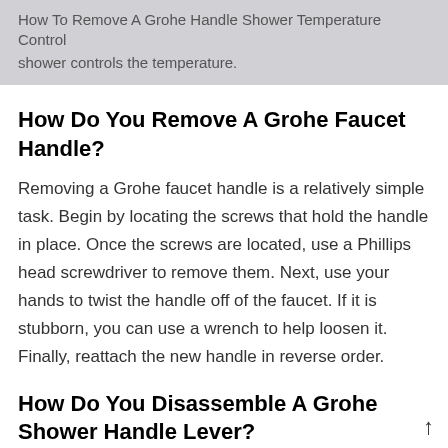How To Remove A Grohe Handle Shower Temperature Control
shower controls the temperature.
How Do You Remove A Grohe Faucet Handle?
Removing a Grohe faucet handle is a relatively simple task. Begin by locating the screws that hold the handle in place. Once the screws are located, use a Phillips head screwdriver to remove them. Next, use your hands to twist the handle off of the faucet. If it is stubborn, you can use a wrench to help loosen it. Finally, reattach the new handle in reverse order.
How Do You Disassemble A Grohe Shower Handle Lever?